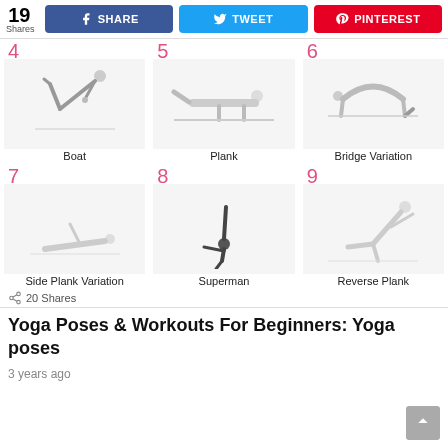[Figure (screenshot): Social sharing bar with 19 Shares count, Facebook Share button, Twitter Tweet button, and Pinterest button]
[Figure (infographic): 3x2 grid of yoga poses numbered 4-9: Boat (4), Plank (5), Bridge Variation (6), Side Plank Variation (7), Superman (8), Reverse Plank (9). Each cell has a number in pink/red, a person demonstrating the pose, and a label below.]
20 Shares
Yoga Poses & Workouts For Beginners: Yoga poses
3 years ago